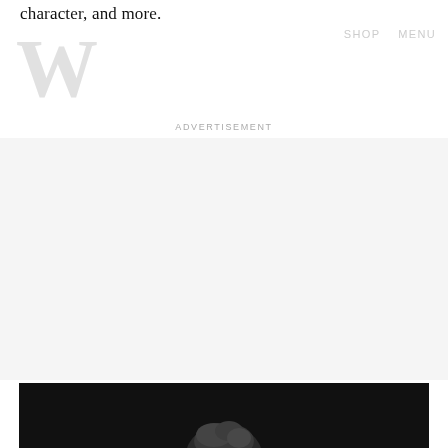character, and more.
SHOP   MENU
ADVERTISEMENT
[Figure (photo): Black and white photo showing the top of a person's head against a dark background, partially visible at the bottom of the page.]